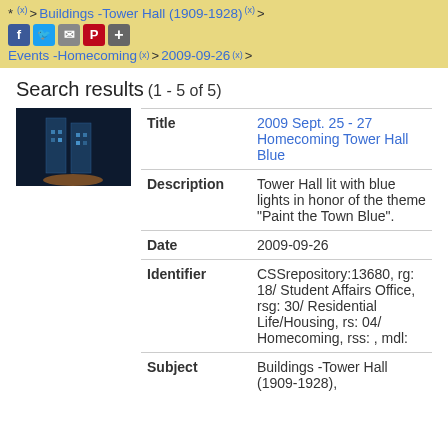* (x) > Buildings -Tower Hall (1909-1928) (x) > Events -Homecoming (x) > 2009-09-26 (x) >
Search results
(1 - 5 of 5)
| Field | Value |
| --- | --- |
| Title | 2009 Sept. 25 - 27 Homecoming Tower Hall Blue |
| Description | Tower Hall lit with blue lights in honor of the theme "Paint the Town Blue". |
| Date | 2009-09-26 |
| Identifier | CSSrepository:13680, rg: 18/ Student Affairs Office, rsg: 30/ Residential Life/Housing, rs: 04/ Homecoming, rss: , mdl: |
| Subject | Buildings -Tower Hall (1909-1928), |